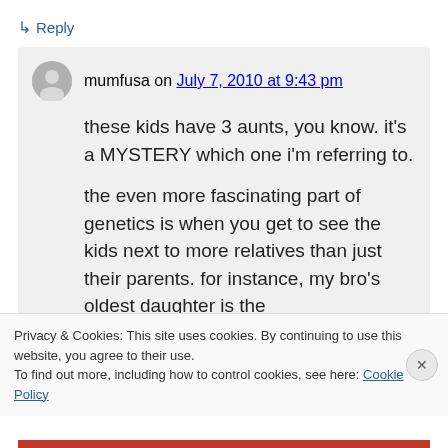↳ Reply
mumfusa on July 7, 2010 at 9:43 pm
these kids have 3 aunts, you know. it's a MYSTERY which one i'm referring to.
the even more fascinating part of genetics is when you get to see the kids next to more relatives than just their parents. for instance, my bro's oldest daughter is the
Privacy & Cookies: This site uses cookies. By continuing to use this website, you agree to their use.
To find out more, including how to control cookies, see here: Cookie Policy
Close and accept